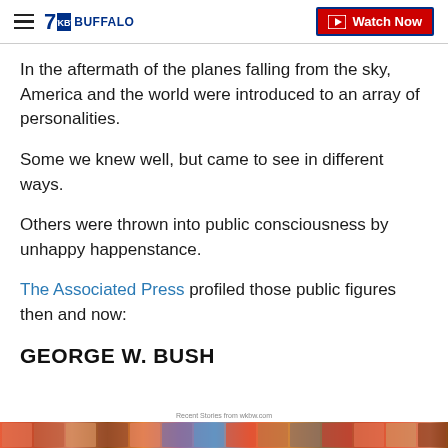7 WKBW BUFFALO — Watch Now
In the aftermath of the planes falling from the sky, America and the world were introduced to an array of personalities.
Some we knew well, but came to see in different ways.
Others were thrown into public consciousness by unhappy happenstance.
The Associated Press profiled those public figures then and now:
GEORGE W. BUSH
Recent Stories from wkbw.com
[Figure (photo): Colorful strip of photos at the bottom of the page]